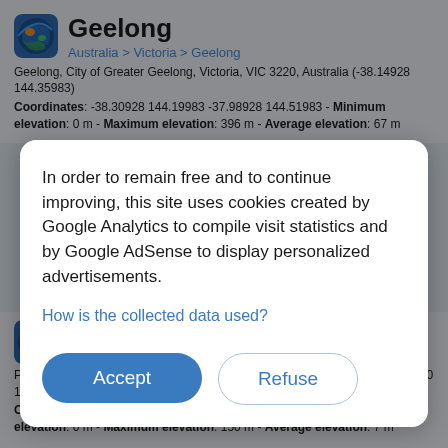Geelong
Australia > Victoria > Geelong
Geelong, City of Greater Geelong, Victoria, VIC 3220, Australia (-38.14928 144.35983)
Coordinates: -38.30928 144.19983 -37.98928 144.51983 - Minimum elevation: 0 m - Maximum elevation: 396 m - Average elevation: 67 m
In order to remain free and to continue improving, this site uses cookies created by Google Analytics to compile visit statistics and by Google AdSense to display personalized advertisements.
How is the collected data used?
Accept
Refuse
Phillip Island
Australia > Victoria > Cape Woolamai
Phillip Island, Cape Woolamai, Bass Coast Shire, Victoria, Australia (-38.50740 145.18848)
Coordinates: -38.56776 145.11571 -38.44704 145.36430 - Minimum elevation: 0 m - Maximum elevation: 150 m - Average elevation: 7 m